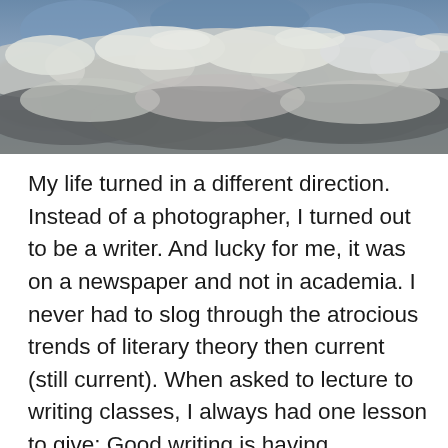[Figure (photo): A photograph of a cloudy sky with dramatic cloud formations, showing various shades of grey, white, and blue tones.]
My life turned in a different direction. Instead of a photographer, I turned out to be a writer. And lucky for me, it was on a newspaper and not in academia. I never had to slog through the atrocious trends of literary theory then current (still current). When asked to lecture to writing classes, I always had one lesson to give: Good writing is having something to say. Writing in fancy words or jargon, clever euphues, gongorisms, or acrostics or esoteric allusion only get in the way. One can be so caught up in the allure of a classic Bugatti that you forget its purpose is to get you somewhere. Fancy writing is that shiny Bugatti sitting unused in a garage, cherished and polished but